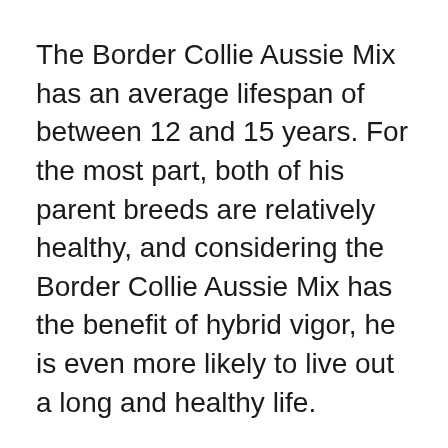The Border Collie Aussie Mix has an average lifespan of between 12 and 15 years. For the most part, both of his parent breeds are relatively healthy, and considering the Border Collie Aussie Mix has the benefit of hybrid vigor, he is even more likely to live out a long and healthy life.
That said, genetics can be difficult to predict, and it's important to know that your Border Collie Aussie Mix could be susceptible to any of the same genetic health issues as his purebred parent breeds.